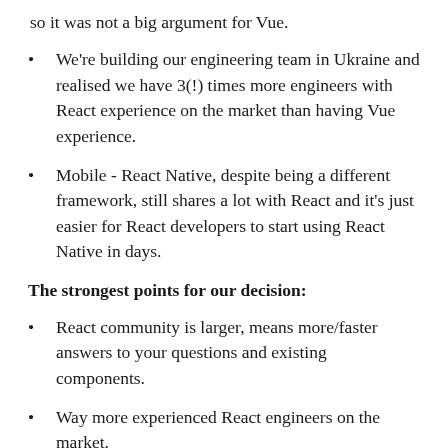so it was not a big argument for Vue.
We're building our engineering team in Ukraine and realised we have 3(!) times more engineers with React experience on the market than having Vue experience.
Mobile - React Native, despite being a different framework, still shares a lot with React and it's just easier for React developers to start using React Native in days.
The strongest points for our decision:
React community is larger, means more/faster answers to your questions and existing components.
Way more experienced React engineers on the market.
React + React Native is a great combo if you're